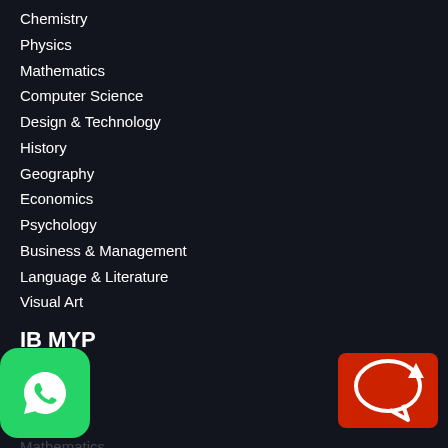Chemistry
Physics
Mathematics
Computer Science
Design & Technology
History
Geography
Economics
Psychology
Business & Management
Language & Literature
Visual Art
IB MYP
Biology
Chemistry
Physics
Mathematics
Earth Sciences
[Figure (logo): WhatsApp logo icon (green rounded square with white phone icon)]
[Figure (logo): Red chat/message bubble icon with white speech bubble and arrow]